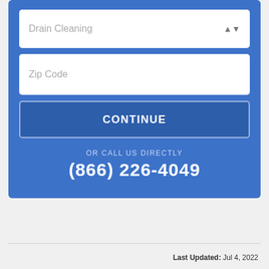[Figure (screenshot): A web form UI on a blue background with a dropdown showing 'Drain Cleaning', a zip code text input, a 'CONTINUE' button, and a phone number (866) 226-4049 for direct calls.]
OR CALL US DIRECTLY
(866) 226-4049
Last Updated: Jul 4, 2022